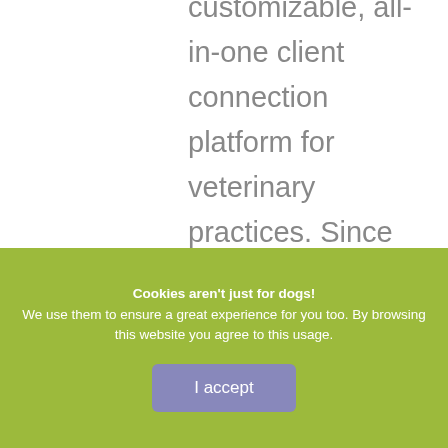customizable, all-in-one client connection platform for veterinary practices. Since earning her DVM from Colorado State University in 1996, Dr. Santi has accumulated more than 20 years of clinical experience in small animal practice...
Cookies aren't just for dogs!
We use them to ensure a great experience for you too. By browsing this website you agree to this usage.
I accept